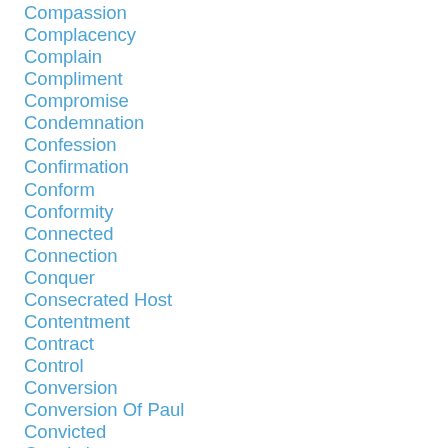Compassion
Complacency
Complain
Compliment
Compromise
Condemnation
Confession
Confirmation
Conform
Conformity
Connected
Connection
Conquer
Consecrated Host
Contentment
Contract
Control
Conversion
Conversion Of Paul
Convicted
Conviction